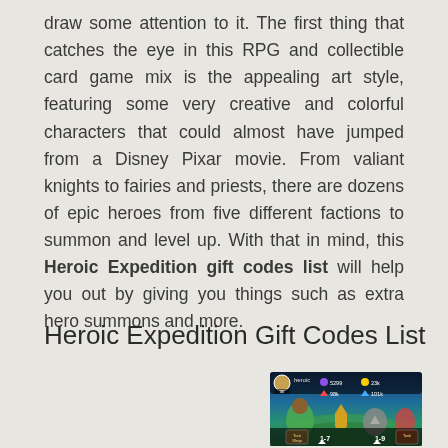draw some attention to it. The first thing that catches the eye in this RPG and collectible card game mix is the appealing art style, featuring some very creative and colorful characters that could almost have jumped from a Disney Pixar movie. From valiant knights to fairies and priests, there are dozens of epic heroes from five different factions to summon and level up. With that in mind, this Heroic Expedition gift codes list will help you out by giving you things such as extra hero summons and more.
Heroic Expedition Gift Codes List
[Figure (screenshot): Screenshot of the Heroic Expedition mobile game showing game UI with avatar, resource counts (5299 purple gems, 23k gold, 98k red gems, 101k blue crystals), and game characters/map at the bottom showing stage 1-7 and 1-9]